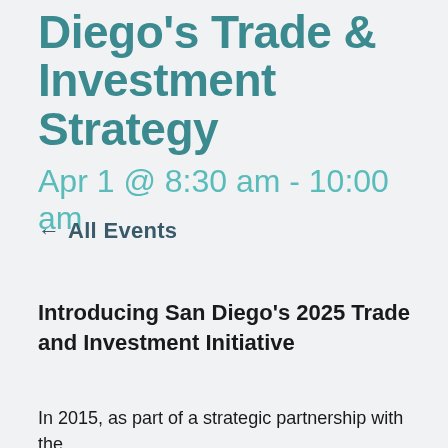Diego's Trade & Investment Strategy
Apr 1 @ 8:30 am - 10:00 am
← All Events
Introducing San Diego's 2025 Trade and Investment Initiative
In 2015, as part of a strategic partnership with the